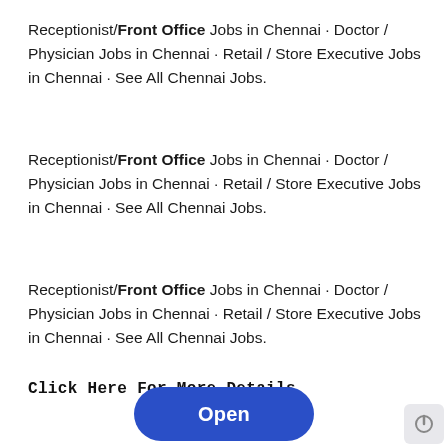Receptionist/Front Office Jobs in Chennai · Doctor / Physician Jobs in Chennai · Retail / Store Executive Jobs in Chennai · See All Chennai Jobs.
Receptionist/Front Office Jobs in Chennai · Doctor / Physician Jobs in Chennai · Retail / Store Executive Jobs in Chennai · See All Chennai Jobs.
Receptionist/Front Office Jobs in Chennai · Doctor / Physician Jobs in Chennai · Retail / Store Executive Jobs in Chennai · See All Chennai Jobs.
Click Here For More Details
[Figure (other): Blue rounded button with white text reading 'Open']